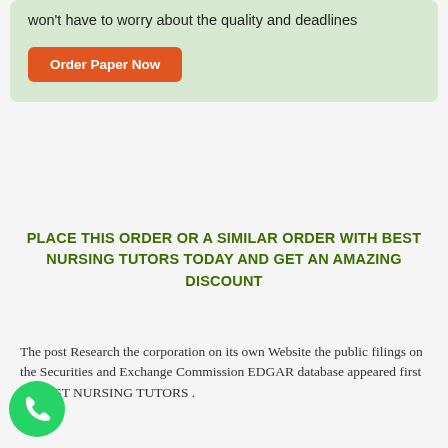won't have to worry about the quality and deadlines
Order Paper Now
PLACE THIS ORDER OR A SIMILAR ORDER WITH BEST NURSING TUTORS TODAY AND GET AN AMAZING DISCOUNT
The post Research the corporation on its own Website the public filings on the Securities and Exchange Commission EDGAR database appeared first on BEST NURSING TUTORS .